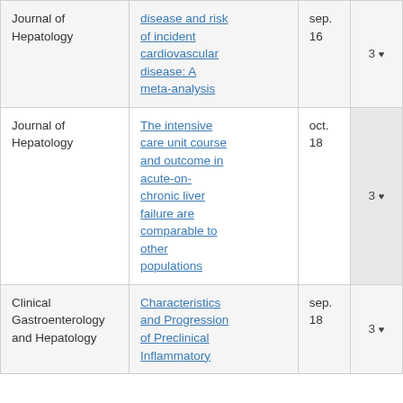| Journal | Article | Date | Rating |
| --- | --- | --- | --- |
| Journal of Hepatology | disease and risk of incident cardiovascular disease: A meta-analysis | sep. 16 | 3 ♥ |
| Journal of Hepatology | The intensive care unit course and outcome in acute-on-chronic liver failure are comparable to other populations | oct. 18 | 3 ♥ |
| Clinical Gastroenterology and Hepatology | Characteristics and Progression of Preclinical Inflammatory | sep. 18 | 3 ♥ |